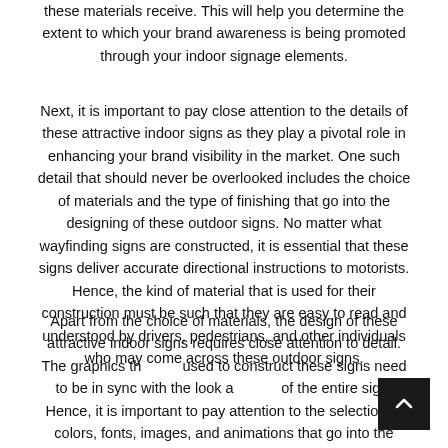these materials receive. This will help you determine the extent to which your brand awareness is being promoted through your indoor signage elements.
Next, it is important to pay close attention to the details of these attractive indoor signs as they play a pivotal role in enhancing your brand visibility in the market. One such detail that should never be overlooked includes the choice of materials and the type of finishing that go into the designing of these outdoor signs. No matter what wayfinding signs are constructed, it is essential that these signs deliver accurate directional instructions to motorists. Hence, the kind of material that is used for their construction must be such that they are easy to read and understood by drivers, pedestrians, and other individuals who may come across these outdoor signs.
Apart from the choice of materials, the design of these attractive indoor signs requires close attention to detail. The graphics that are used to construct these signs need to be in sync with the look and feel of the entire sign. Hence, it is important to pay attention to the selection of colors, fonts, images, and animations that go into the construction of such outdoor advertising displays. This means that you have to make sure that the colors, fonts, graphics, and animations